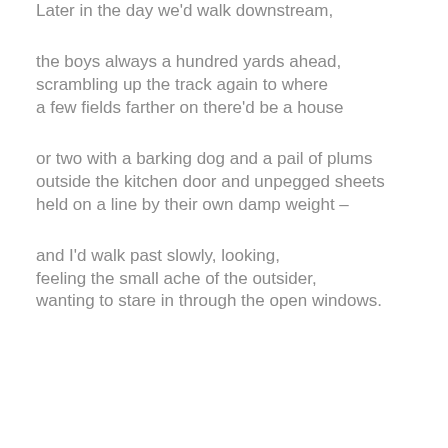Later in the day we'd walk downstream,
the boys always a hundred yards ahead,
scrambling up the track again to where
a few fields farther on there'd be a house
or two with a barking dog and a pail of plums
outside the kitchen door and unpegged sheets
held on a line by their own damp weight –
and I'd walk past slowly, looking,
feeling the small ache of the outsider,
wanting to stare in through the open windows.